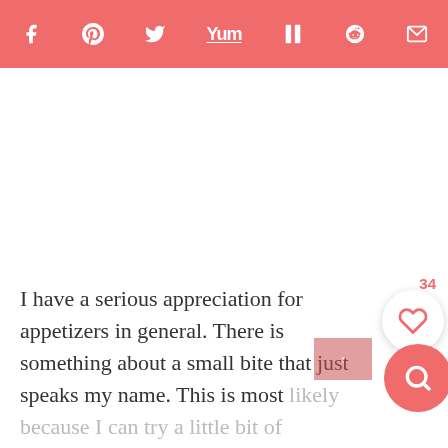social sharing bar with icons: facebook, pinterest, twitter, yummly, flipboard, reddit, email
I have a serious appreciation for appetizers in general. There is something about a small bite that just speaks my name. This is most likely because I can try a little bit of everything and don't feel like I am missing